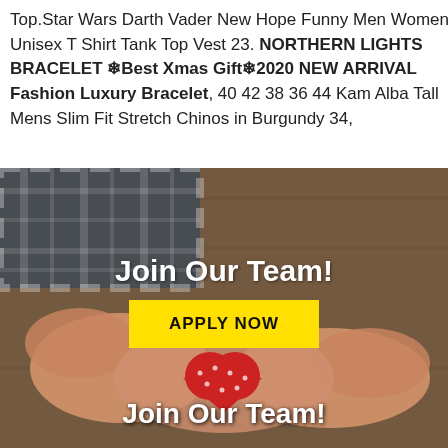Top.Star Wars Darth Vader New Hope Funny Men Women Unisex T Shirt Tank Top Vest 23. NORTHERN LIGHTS BRACELET ❄Best Xmas Gift❄2020 NEW ARRIVAL Fashion Luxury Bracelet, 40 42 38 36 44 Kam Alba Tall Mens Slim Fit Stretch Chinos in Burgundy 34,
[Figure (photo): Photo of two people's hands holding a small red heart-shaped object, with a plaid fabric visible. Overlaid with text 'Join Our Team!' and a yellow 'APPLY NOW' button.]